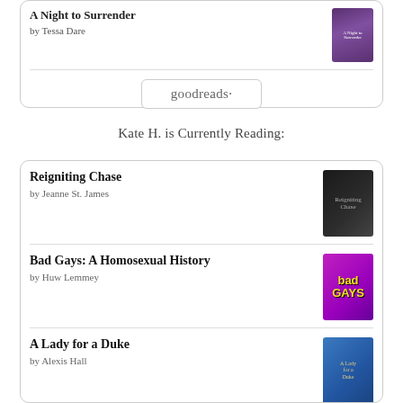A Night to Surrender
by Tessa Dare
[Figure (logo): goodreads logo inside rounded rectangle button]
Kate H. is Currently Reading:
Reigniting Chase
by Jeanne St. James
Bad Gays: A Homosexual History
by Huw Lemmey
A Lady for a Duke
by Alexis Hall